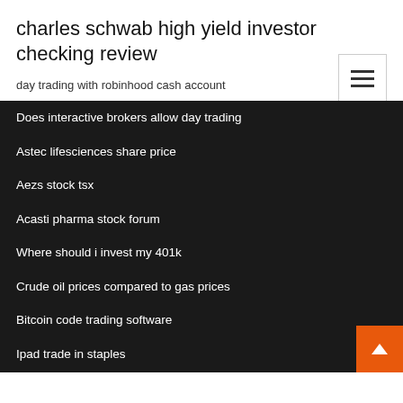charles schwab high yield investor checking review
day trading with robinhood cash account
Does interactive brokers allow day trading
Astec lifesciences share price
Aezs stock tsx
Acasti pharma stock forum
Where should i invest my 401k
Crude oil prices compared to gas prices
Bitcoin code trading software
Ipad trade in staples